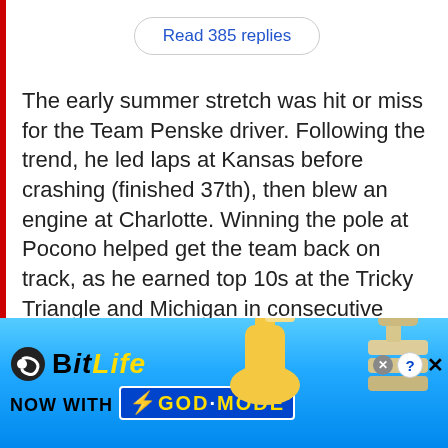Read 385 replies
The early summer stretch was hit or miss for the Team Penske driver. Following the trend, he led laps at Kansas before crashing (finished 37th), then blew an engine at Charlotte. Winning the pole at Pocono helped get the team back on track, as he earned top 10s at the Tricky Triangle and Michigan in consecutive weeks.
But finishes of 34th at Sonoma, 18th at Chicago and dead last at Daytona stunted Blaney's momentum of early June. His
[Figure (screenshot): BitLife advertisement banner at bottom: light blue background, BitLife logo with snake/ball icon, 'NOW WITH GOD MODE' text, yellow thumb pointing right, hand gesture on right, close and help buttons in top right corner.]